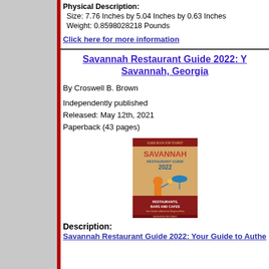Physical Description:
Size: 7.76 Inches by 5.04 Inches by 0.63 Inches
Weight: 0.8598028218 Pounds
Click here for more information
Savannah Restaurant Guide 2022: Y... Savannah, Georgia
By Croswell B. Brown
Independently published
Released: May 12th, 2021
Paperback (43 pages)
[Figure (photo): Book cover of Savannah Restaurant Guide 2022 showing orange and red design with a waiter figure, text: GUIDE BOOK FOR TOURIST, SAVANNAH RESTAURANT GUIDE 2022, RESTAURANTS, BARS AND CAFES, Your Guide to Authentic Regional Eats, GUIDE BOOK FOR TOURIST]
Description:
Savannah Restaurant Guide 2022: Your Guide to Authe...